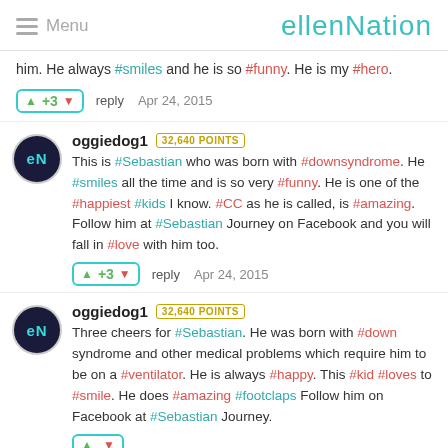Menu | ellenNation
him. He always #smiles and he is so #funny. He is my #hero.
+3  reply  Apr 24, 2015
oggiedog1  32,640 POINTS
This is #Sebastian who was born with #downsyndrome. He #smiles all the time and is so very #funny. He is one of the #happiest #kids I know. #CC as he is called, is #amazing. Follow him at #Sebastian Journey on Facebook and you will fall in #love with him too.
+3  reply  Apr 24, 2015
oggiedog1  32,640 POINTS
Three cheers for #Sebastian. He was born with #down syndrome and other medical problems which require him to be on a #ventilator. He is always #happy. This #kid #loves to #smile. He does #amazing #footclaps Follow him on Facebook at #Sebastian Journey.